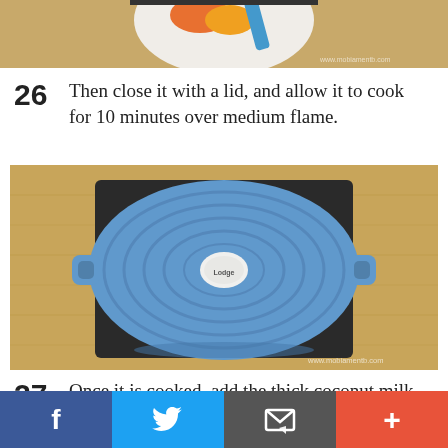[Figure (photo): Top portion of a cooking pan with colorful vegetables and a blue spatula, with watermark www.mobiamentb.com]
26 Then close it with a lid, and allow it to cook for 10 minutes over medium flame.
[Figure (photo): Top-down view of a blue Le Creuset cast iron pot with lid on a wooden surface with watermark www.mobiamentb.com]
27 Once it is cooked, add the thick coconut milk
[Figure (infographic): Social sharing bar with Facebook, Twitter, email, and plus buttons]